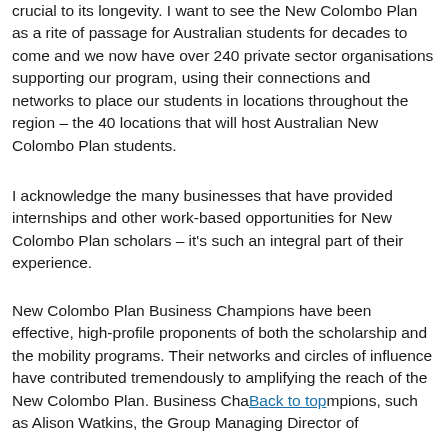crucial to its longevity. I want to see the New Colombo Plan as a rite of passage for Australian students for decades to come and we now have over 240 private sector organisations supporting our program, using their connections and networks to place our students in locations throughout the region – the 40 locations that will host Australian New Colombo Plan students.
I acknowledge the many businesses that have provided internships and other work-based opportunities for New Colombo Plan scholars – it's such an integral part of their experience.
New Colombo Plan Business Champions have been effective, high-profile proponents of both the scholarship and the mobility programs. Their networks and circles of influence have contributed tremendously to amplifying the reach of the New Colombo Plan. Business Champions, such as Alison Watkins, the Group Managing Director of